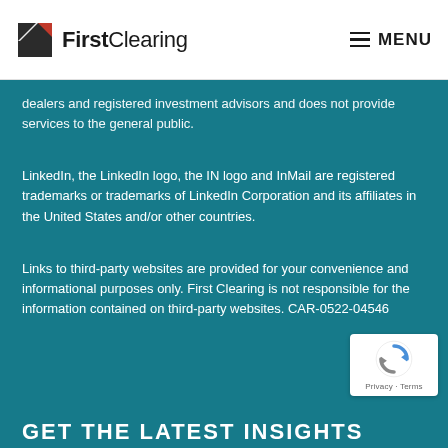FirstClearing | MENU
dealers and registered investment advisors and does not provide services to the general public.
LinkedIn, the LinkedIn logo, the IN logo and InMail are registered trademarks or trademarks of LinkedIn Corporation and its affiliates in the United States and/or other countries.
Links to third-party websites are provided for your convenience and informational purposes only. First Clearing is not responsible for the information contained on third-party websites. CAR-0522-04546
GET THE LATEST INSIGHTS